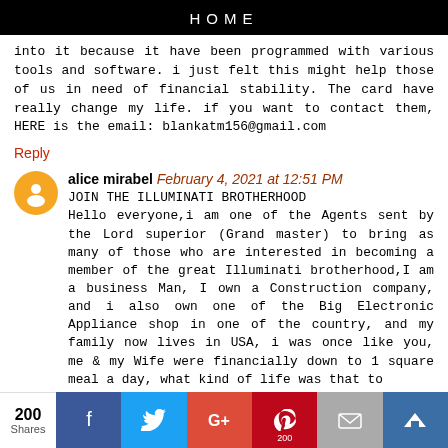HOME
into it because it have been programmed with various tools and software. i just felt this might help those of us in need of financial stability. The card have really change my life. if you want to contact them, HERE is the email: blankatm156@gmail.com
Reply
alice mirabel February 4, 2021 at 12:51 PM
JOIN THE ILLUMINATI BROTHERHOOD
Hello everyone,i am one of the Agents sent by the Lord superior (Grand master) to bring as many of those who are interested in becoming a member of the great Illuminati brotherhood,I am a business Man, I own a Construction company, and i also own one of the Big Electronic Appliance shop in one of the country, and my family now lives in USA, i was once like you, me & my Wife were financially down to 1 square meal a day, what kind of life was that to
200 Shares